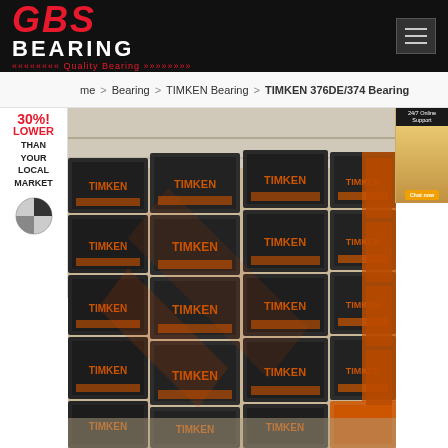[Figure (logo): GBS Bearing logo with red GBS text and white BEARING text on black background, tagline Quality Bearing]
Home > Bearing > TIMKEN Bearing > TIMKEN 376DE/374 Bearing
[Figure (infographic): 30% Lower Than Your Local Market promotional banner on left side]
[Figure (photo): Stacks of TIMKEN branded bearing boxes in dark grey/black and orange, warehouse setting]
[Figure (photo): Chat support person thumbnail on right side]